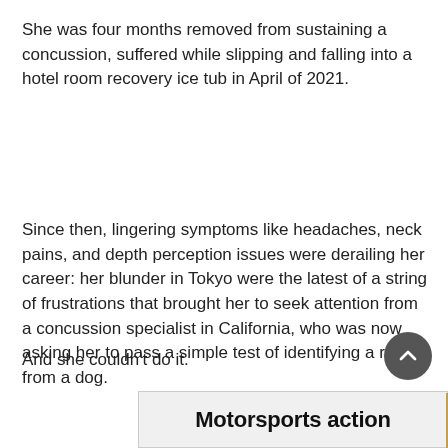She was four months removed from sustaining a concussion, suffered while slipping and falling into a hotel room recovery ice tub in April of 2021.
Since then, lingering symptoms like headaches, neck pains, and depth perception issues were derailing her career: her blunder in Tokyo were the latest of a string of frustrations that brought her to seek attention from a concussion specialist in California, who was now asking her to pass a simple test of identifying a rabbit from a dog.
And she couldn't do it.
[Figure (other): Scroll-to-top circular button with upward chevron arrow, dark grey background]
[Figure (other): Motorsports action banner/advertisement — light grey banner with bold black text reading 'Motorsports action' and a gold/yellow stripe on the right edge]